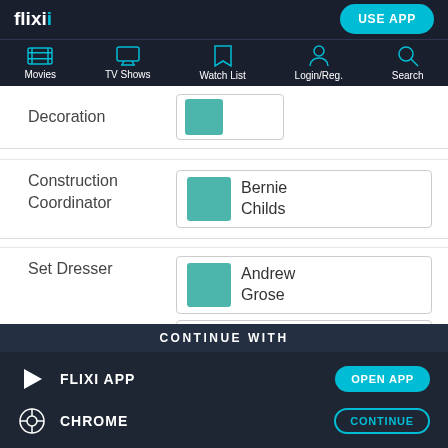flixi - USE APP - Movies, TV Shows, Watch List, Login/Reg., Search
Decoration
Construction Coordinator - Bernie Childs
Set Dresser - Andrew Grose, Nick Hartigan
CONTINUE WITH
FLIXI APP - OPEN APP
CHROME - CONTINUE